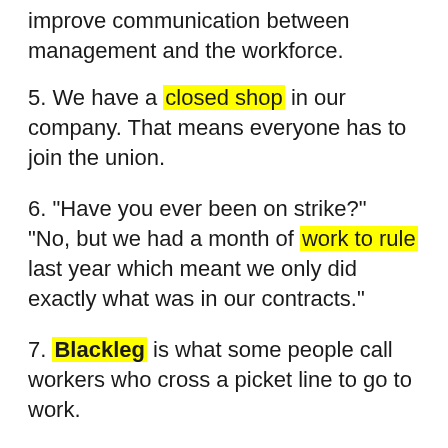improve communication between management and the workforce.
5. We have a closed shop in our company. That means everyone has to join the union.
6. "Have you ever been on strike?" "No, but we had a month of work to rule last year which meant we only did exactly what was in our contracts."
7. Blackleg is what some people call workers who cross a picket line to go to work.
8. If you arrive late again, you'll get a written warning because you've already had a verbal reprimand.
9. "Are you a member of a trade union?" "No, we don't have an official union at work and I've